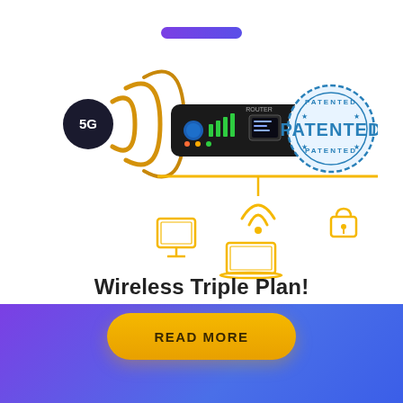[Figure (illustration): Purple pill/bar decorative element at top center of page]
[Figure (photo): 5G wireless router device with golden WiFi signal waves on the left, a black rectangular router/modem in the center, a blue 'PATENTED' stamp badge on the right, and golden icons below showing a monitor, WiFi signal, laptop, and a lock/router connected by lines indicating wireless connectivity]
Wireless Triple Plan!
[Figure (illustration): Orange/yellow rounded rectangle button with text 'READ MORE' in bold dark letters]
[Figure (illustration): Purple to blue gradient decorative footer band at the bottom of the page]